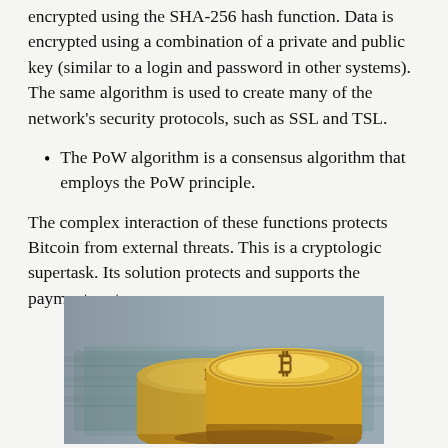Communications on the Bitcoin network are encrypted using the SHA-256 hash function. Data is encrypted using a combination of a private and public key (similar to a login and password in other systems). The same algorithm is used to create many of the network's security protocols, such as SSL and TSL.
The PoW algorithm is a consensus algorithm that employs the PoW principle.
The complex interaction of these functions protects Bitcoin from external threats. This is a cryptologic supertask. Its solution protects and supports the payment system.
[Figure (photo): Stack of gold Bitcoin coins resting on top of US dollar bills, photographed in close-up with shallow depth of field.]